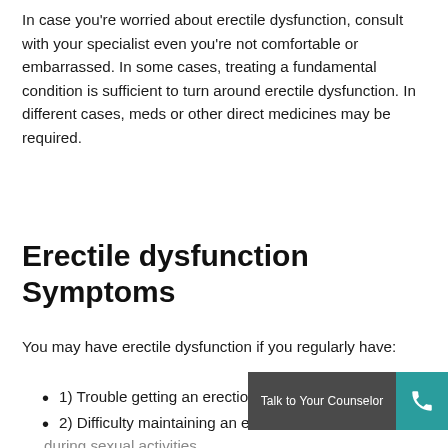In case you're worried about erectile dysfunction, consult with your specialist even you're not comfortable or embarrassed. In some cases, treating a fundamental condition is sufficient to turn around erectile dysfunction. In different cases, meds or other direct medicines may be required.
Erectile dysfunction Symptoms
You may have erectile dysfunction if you regularly have:
1) Trouble getting an erection
2) Difficulty maintaining an erection
during sexual activities